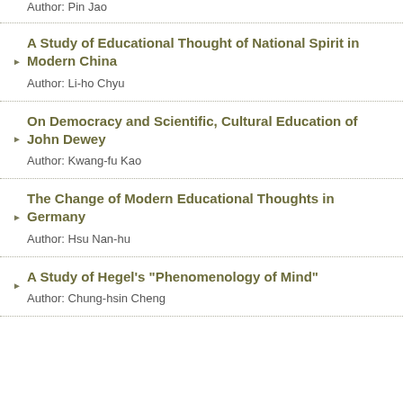Author: Pin Jao
A Study of Educational Thought of National Spirit in Modern China
Author: Li-ho Chyu
On Democracy and Scientific, Cultural Education of John Dewey
Author: Kwang-fu Kao
The Change of Modern Educational Thoughts in Germany
Author: Hsu Nan-hu
A Study of Hegel's "Phenomenology of Mind"
Author: Chung-hsin Cheng